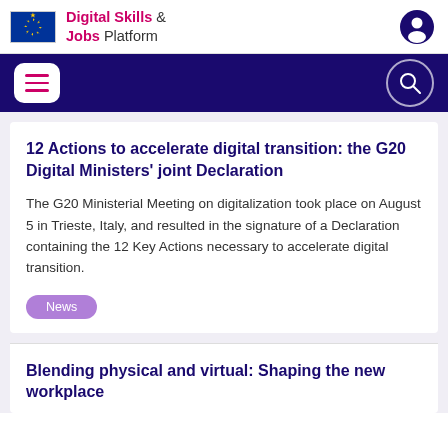Digital Skills & Jobs Platform
12 Actions to accelerate digital transition: the G20 Digital Ministers' joint Declaration
The G20 Ministerial Meeting on digitalization took place on August 5 in Trieste, Italy, and resulted in the signature of a Declaration containing the 12 Key Actions necessary to accelerate digital transition.
News
Blending physical and virtual: Shaping the new workplace